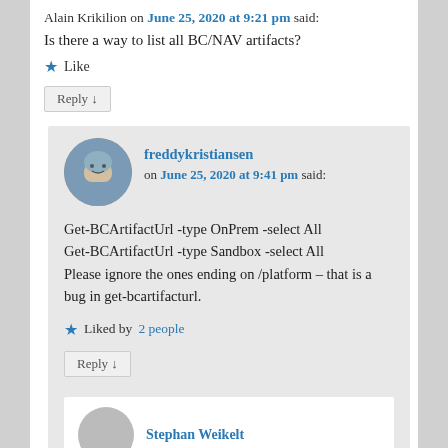Alain Krikilion on June 25, 2020 at 9:21 pm said:
Is there a way to list all BC/NAV artifacts?
★ Like
Reply ↓
freddykristiansen on June 25, 2020 at 9:41 pm said:
Get-BCArtifactUrl -type OnPrem -select All
Get-BCArtifactUrl -type Sandbox -select All
Please ignore the ones ending on /platform – that is a bug in get-bcartifacturl.
★ Liked by 2 people
Reply ↓
Stephan Weikelt